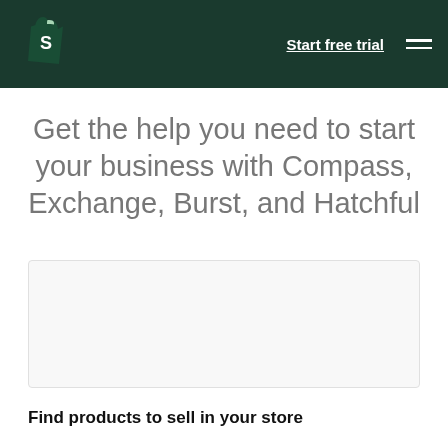Start free trial
Get the help you need to start your business with Compass, Exchange, Burst, and Hatchful
[Figure (other): Blank/white image placeholder box]
Find products to sell in your store